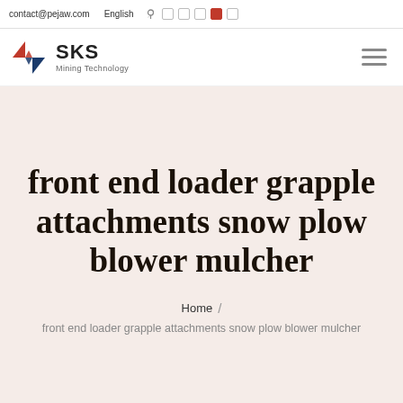contact@pejaw.com  English
[Figure (logo): SKS Mining Technology logo with stylized angular S icon in red and blue, text 'SKS' bold, subtitle 'Mining Technology']
front end loader grapple attachments snow plow blower mulcher
Home / front end loader grapple attachments snow plow blower mulcher